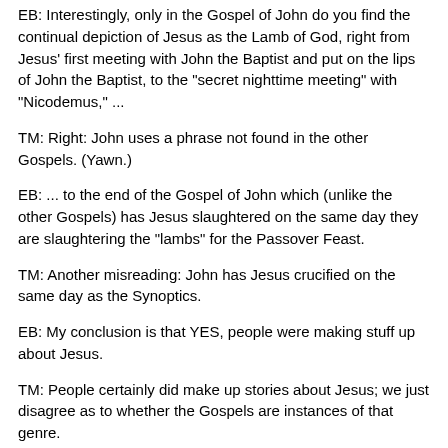EB: Interestingly, only in the Gospel of John do you find the continual depiction of Jesus as the Lamb of God, right from Jesus' first meeting with John the Baptist and put on the lips of John the Baptist, to the "secret nighttime meeting" with "Nicodemus," ...
TM: Right: John uses a phrase not found in the other Gospels. (Yawn.)
EB: ... to the end of the Gospel of John which (unlike the other Gospels) has Jesus slaughtered on the same day they are slaughtering the "lambs" for the Passover Feast.
TM: Another misreading: John has Jesus crucified on the same day as the Synoptics.
EB: My conclusion is that YES, people were making stuff up about Jesus.
TM: People certainly did make up stories about Jesus; we just disagree as to whether the Gospels are instances of that genre.
EB: And I think any religion that wants me to believe in made up hints of stories that continued to be passed along and flourish as legends via a game of "telephone" ..